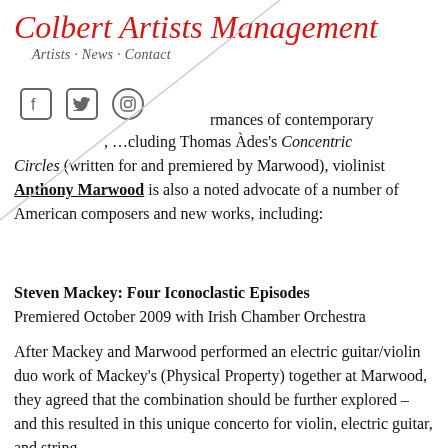Colbert Artists Management
Artists · News · Contact
…rmances of contemporary …cluding Thomas Àdes's Concentric Circles (written for and premiered by Marwood), violinist Anthony Marwood is also a noted advocate of a number of American composers and new works, including:
Steven Mackey: Four Iconoclastic Episodes
Premiered October 2009 with Irish Chamber Orchestra
After Mackey and Marwood performed an electric guitar/violin duo work of Mackey's (Physical Property) together at Marwood, they agreed that the combination should be further explored – and this resulted in this unique concerto for violin, electric guitar, and string